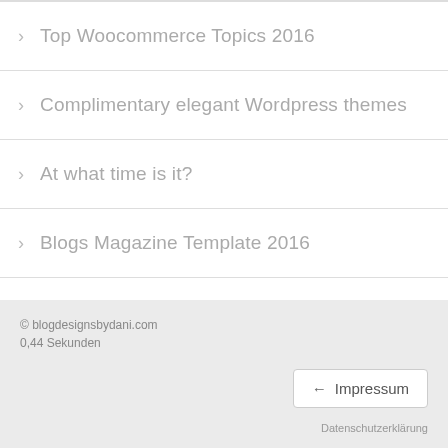> Top Woocommerce Topics 2016
> Complimentary elegant Wordpress themes
> At what time is it?
> Blogs Magazine Template 2016
> Waldthema Restaurant
> Download forest themes for free
> Free Homepage
> Create websites quickly
> The Dudapro Review
© blogdesignsbydani.com
0,44 Sekunden
Impressum
Datenschutzerklärung